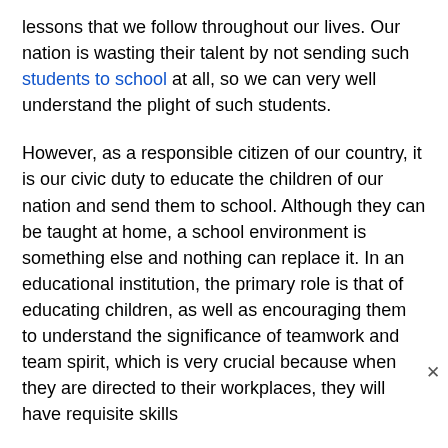lessons that we follow throughout our lives. Our nation is wasting their talent by not sending such students to school at all, so we can very well understand the plight of such students.
However, as a responsible citizen of our country, it is our civic duty to educate the children of our nation and send them to school. Although they can be taught at home, a school environment is something else and nothing can replace it. In an educational institution, the primary role is that of educating children, as well as encouraging them to understand the significance of teamwork and team spirit, which is very crucial because when they are directed to their workplaces, they will have requisite skills